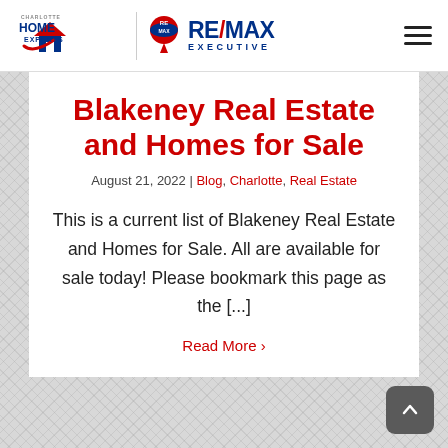Charlotte Home Experts | RE/MAX EXECUTIVE
Blakeney Real Estate and Homes for Sale
August 21, 2022 | Blog, Charlotte, Real Estate
This is a current list of Blakeney Real Estate and Homes for Sale. All are available for sale today! Please bookmark this page as the [...]
Read More >